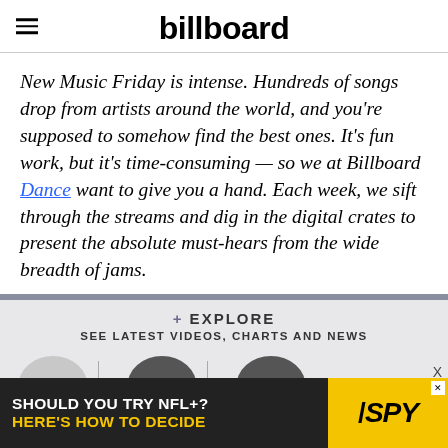billboard
New Music Friday is intense. Hundreds of songs drop from artists around the world, and you're supposed to somehow find the best ones. It's fun work, but it's time-consuming — so we at Billboard Dance want to give you a hand. Each week, we sift through the streams and dig in the digital crates to present the absolute must-hears from the wide breadth of jams.
+ EXPLORE SEE LATEST VIDEOS, CHARTS AND NEWS
[Figure (photo): Three circular thumbnail images of artists in a horizontal row with dividers between them]
[Figure (photo): Advertisement banner: 'SHOULD YOU TRY NFL+? HERE'S HOW TO DECIDE' with SPY logo on yellow background]